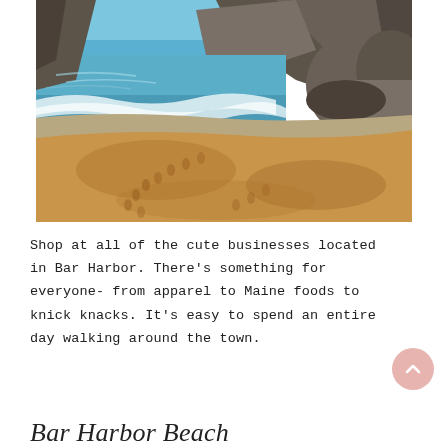[Figure (photo): A sandy beach with footprints in the foreground, ocean waves washing onto the shore, and large rocky cliffs in the background under a blue sky.]
Shop at all of the cute businesses located in Bar Harbor. There's something for everyone-from apparel to Maine foods to knick knacks. It's easy to spend an entire day walking around the town.
Bar Harbor Beach